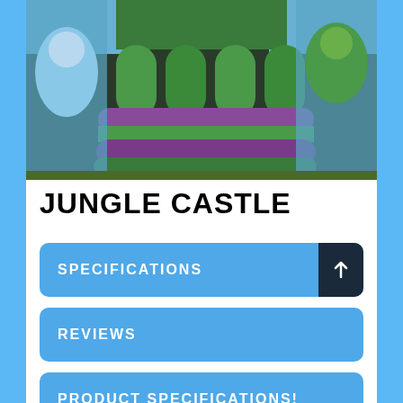[Figure (photo): Photo of a jungle-themed inflatable bouncy castle with purple and green striped base and cartoon jungle animal graphics on the sides]
JUNGLE CASTLE
SPECIFICATIONS
REVIEWS
PRODUCT SPECIFICATIONS!